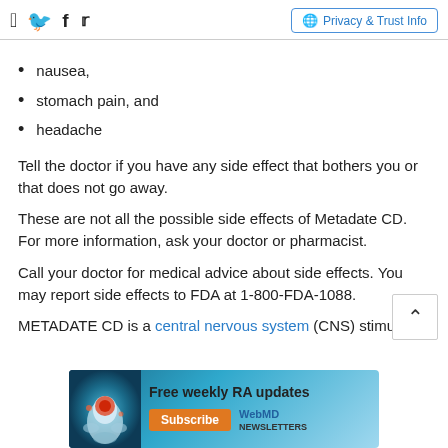[Facebook icon] [Twitter icon] | Privacy & Trust Info
nausea,
stomach pain, and
headache
Tell the doctor if you have any side effect that bothers you or that does not go away.
These are not all the possible side effects of Metadate CD. For more information, ask your doctor or pharmacist.
Call your doctor for medical advice about side effects. You may report side effects to FDA at 1-800-FDA-1088.
METADATE CD is a central nervous system (CNS) stimulant.
ADVERTISEMENT
[Figure (infographic): Advertisement banner: Free weekly RA updates, Subscribe, WebMD Newsletters]